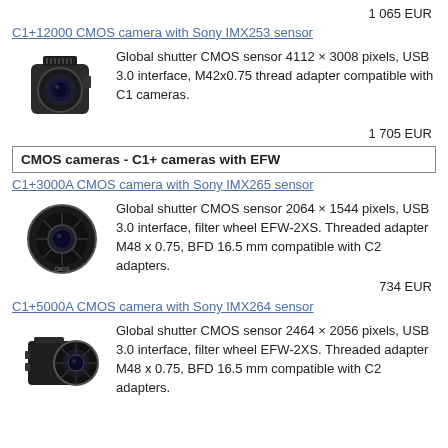1 065 EUR
C1+12000 CMOS camera with Sony IMX253 sensor
[Figure (photo): Photo of C1+12000 CMOS camera]
Global shutter CMOS sensor 4112 × 3008 pixels, USB 3.0 interface, M42x0.75 thread adapter compatible with C1 cameras.
1 705 EUR
CMOS cameras - C1+ cameras with EFW
C1+3000A CMOS camera with Sony IMX265 sensor
[Figure (photo): Photo of C1+3000A CMOS camera with filter wheel]
Global shutter CMOS sensor 2064 × 1544 pixels, USB 3.0 interface, filter wheel EFW-2XS. Threaded adapter M48 x 0.75, BFD 16.5 mm compatible with C2 adapters.
734 EUR
C1+5000A CMOS camera with Sony IMX264 sensor
[Figure (photo): Photo of C1+5000A CMOS camera with filter wheel]
Global shutter CMOS sensor 2464 × 2056 pixels, USB 3.0 interface, filter wheel EFW-2XS. Threaded adapter M48 x 0.75, BFD 16.5 mm compatible with C2 adapters.